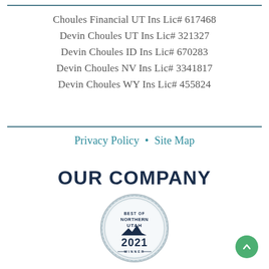Choules Financial UT Ins Lic# 617468
Devin Choules UT Ins Lic# 321327
Devin Choules ID Ins Lic# 670283
Devin Choules NV Ins Lic# 3341817
Devin Choules WY Ins Lic# 455824
Privacy Policy  •  Site Map
OUR COMPANY
[Figure (logo): Best of Northern Utah 2021 Winner badge/seal with mountain graphic]